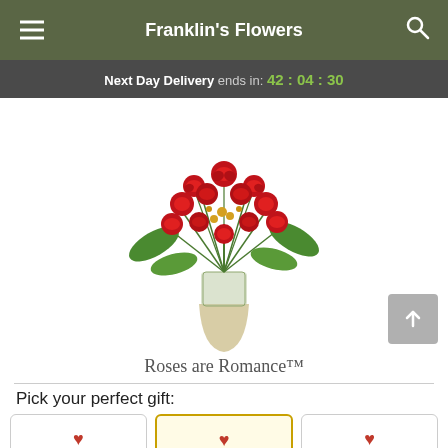Franklin's Flowers
Next Day Delivery ends in: 42 : 04 : 30
[Figure (photo): Bouquet of red roses in a glass vase with greenery and yellow accent flowers, product photo for Roses are Romance™]
Roses are Romance™
Pick your perfect gift: